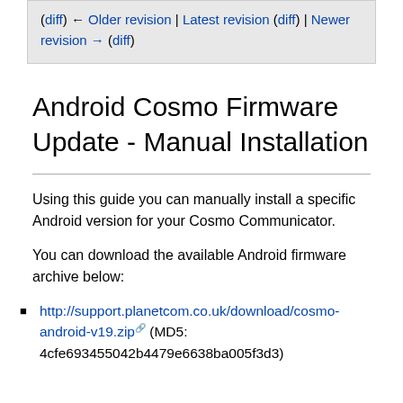(diff) ← Older revision | Latest revision (diff) | Newer revision → (diff)
Android Cosmo Firmware Update - Manual Installation
Using this guide you can manually install a specific Android version for your Cosmo Communicator.
You can download the available Android firmware archive below:
http://support.planetcom.co.uk/download/cosmo-android-v19.zip (MD5: 4cfe693455042b4479e6638ba005f3d3)